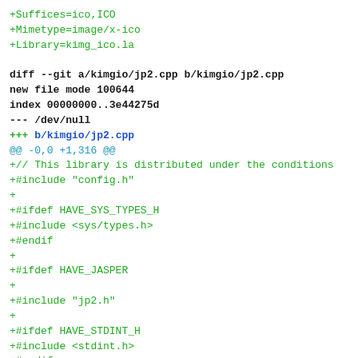+Suffices=ico,ICO
+Mimetype=image/x-ico
+Library=kimg_ico.la

diff --git a/kimgio/jp2.cpp b/kimgio/jp2.cpp
new file mode 100644
index 00000000..3e44275d
--- /dev/null
+++ b/kimgio/jp2.cpp
@@ -0,0 +1,316 @@
+// This library is distributed under the conditions
+#include "config.h"
+
+#ifdef HAVE_SYS_TYPES_H
+#include <sys/types.h>
+#endif
+
+#ifdef HAVE_JASPER
+
+#include "jp2.h"
+
+#ifdef HAVE_STDINT_H
+#include <stdint.h>
+#endif
+#include <ktempfile.h>
+#include <qcolor.h>
+#include <qcstring.h>
+#include <qfile.h>
+#include <qimage.h>
+